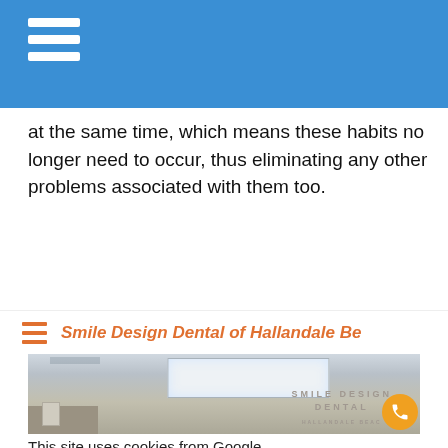at the same time, which means these habits no longer need to occur, thus eliminating any other problems associated with them too.
Smile Design Dental of Hallandale Be
[Figure (photo): Interior photo of Smile Design Dental Hallandale Beach office reception area, showing ceiling light panel and wall lettering reading SMILE DESIGN DENTAL HALLANDALE BEACH, with an orange phone call button overlay.]
This site uses cookies from Google.